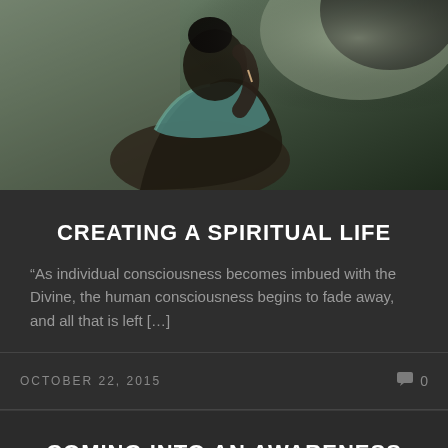[Figure (photo): A woman seen from behind/side, head tilted back, wearing a colorful top, set in a dark stone or concrete environment with natural light.]
CREATING A SPIRITUAL LIFE
“As individual consciousness becomes imbued with the Divine, the human consciousness begins to fade away, and all that is left […]
OCTOBER 22, 2015
0
COMING INTO AN AWARENESS OF SPIRIT
We are studying the teachings of Joel Goldsmith each Tuesday at 8:30 PM by calling 319-826-4895 which the...